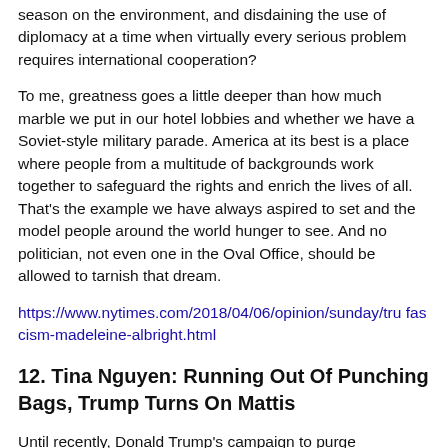season on the environment, and disdaining the use of diplomacy at a time when virtually every serious problem requires international cooperation?
To me, greatness goes a little deeper than how much marble we put in our hotel lobbies and whether we have a Soviet-style military parade. America at its best is a place where people from a multitude of backgrounds work together to safeguard the rights and enrich the lives of all. That’s the example we have always aspired to set and the model people around the world hunger to see. And no politician, not even one in the Oval Office, should be allowed to tarnish that dream.
https://www.nytimes.com/2018/04/06/opinion/sunday/tru fascism-madeleine-albright.html
12. Tina Nguyen: Running Out Of Punching Bags, Trump Turns On Mattis
Until recently, Donald Trump’s campaign to purge naysayers had spared the Pentagon. In the absence of more proximate targets, however, it appears the president has turned his attention to foreign policy,